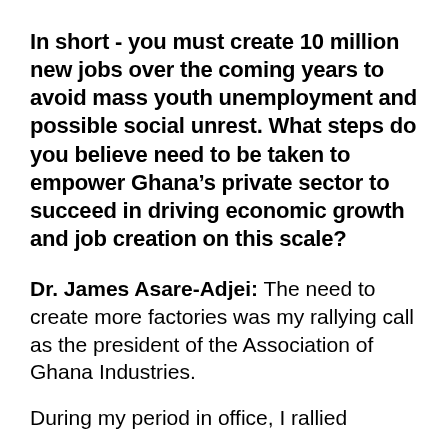In short - you must create 10 million new jobs over the coming years to avoid mass youth unemployment and possible social unrest. What steps do you believe need to be taken to empower Ghana's private sector to succeed in driving economic growth and job creation on this scale?
Dr. James Asare-Adjei: The need to create more factories was my rallying call as the president of the Association of Ghana Industries.
During my period in office, I rallied